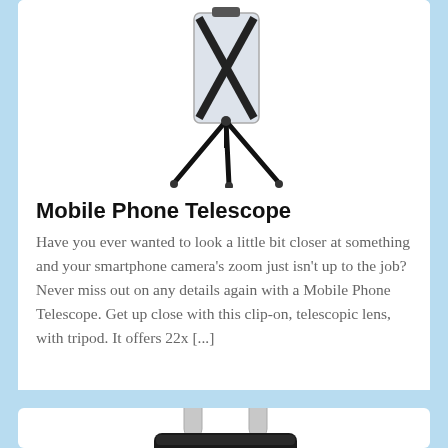[Figure (photo): Mobile phone telescope with tripod - a clip-on telescopic lens attachment on a smartphone mounted on a black tripod]
Mobile Phone Telescope
Have you ever wanted to look a little bit closer at something and your smartphone camera's zoom just isn't up to the job? Never miss out on any details again with a Mobile Phone Telescope. Get up close with this clip-on, telescopic lens, with tripod. It offers 22x [...]
[Figure (photo): A black padlock with silver shackle - security padlock product image]